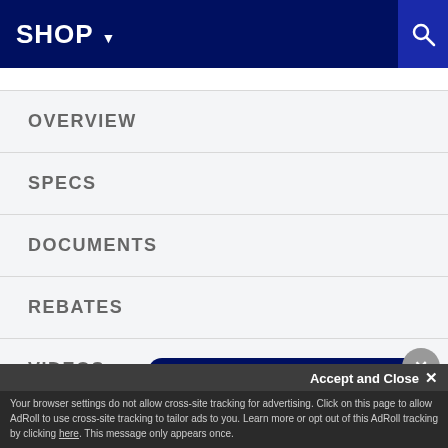SHOP ▼
OVERVIEW
SPECS
DOCUMENTS
REBATES
VIDEOS
DELI...
WAR...
Welcome! My name is Dan Nantais, owner of Milcarsky's. How can I assist you today?
Accept and Close ✕
Your browser settings do not allow cross-site tracking for advertising. Click on this page to allow AdRoll to use cross-site tracking to tailor ads to you. Learn more or opt out of this AdRoll tracking by clicking here. This message only appears once.